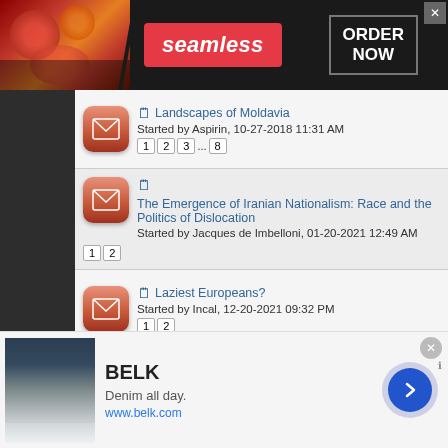[Figure (screenshot): Seamless food delivery advertisement banner with pizza image, red Seamless logo, and ORDER NOW button on dark background]
Landscapes of Moldavia — Started by Aspirin, 10-27-2018 11:31 AM — pages 1 2 3 ... 8
The Emergence of Iranian Nationalism: Race and the Politics of Dislocation — Started by Jacques de Imbelloni, 01-20-2021 12:49 AM — pages 1 2
Laziest Europeans? — Started by Incal, 12-20-2021 09:32 PM — pages 1 2
Abkhaz music
[Figure (screenshot): BELK clothing advertisement — Denim all day. www.belk.com — with image of women and forward arrow button]